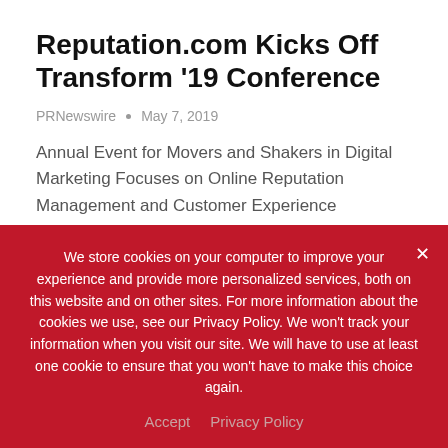Reputation.com Kicks Off Transform '19 Conference
PRNewswire  •  May 7, 2019
Annual Event for Movers and Shakers in Digital Marketing Focuses on Online Reputation Management and Customer Experience Strategies and Best Practices to Succeed in the Feedback Economy Reputation.com, provider of the first and only…
READ MORE...
We store cookies on your computer to improve your experience and provide more personalized services, both on this website and on other sites. For more information about the cookies we use, see our Privacy Policy. We won't track your information when you visit our site. We will have to use at least one cookie to ensure that you won't have to make this choice again.
Accept   Privacy Policy